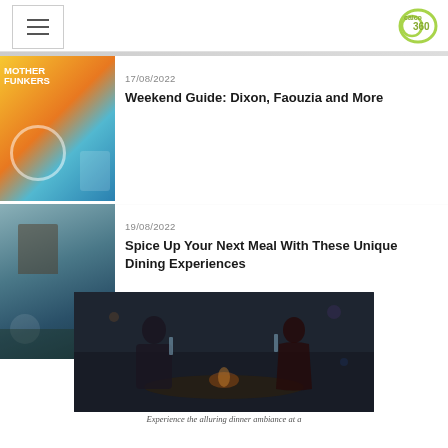caico360 website header with hamburger menu and logo
17/08/2022
Weekend Guide: Dixon, Faouzia and More
19/08/2022
Spice Up Your Next Meal With These Unique Dining Experiences
[Figure (photo): Couple dining at restaurant, clinking glasses in a dark ambiance]
Experience the alluring dinner ambiance at a